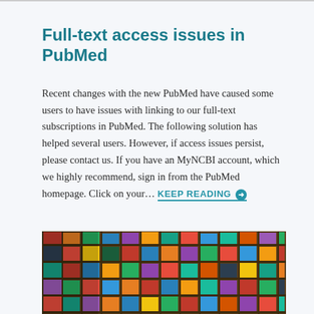Full-text access issues in PubMed
Recent changes with the new PubMed have caused some users to have issues with linking to our full-text subscriptions in PubMed. The following solution has helped several users. However, if access issues persist, please contact us. If you have an MyNCBI account, which we highly recommend, sign in from the PubMed homepage. Click on your… KEEP READING →
[Figure (photo): A wall of wooden shelving units filled with colorful books and publications, viewed at an angle.]